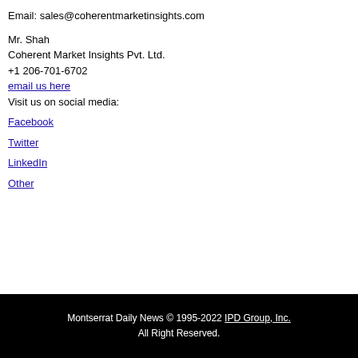Email: sales@coherentmarketinsights.com
Mr. Shah
Coherent Market Insights Pvt. Ltd.
+1 206-701-6702
email us here
Visit us on social media:
Facebook
Twitter
LinkedIn
Other
Montserrat Daily News © 1995-2022 IPD Group, Inc.
All Right Reserved.